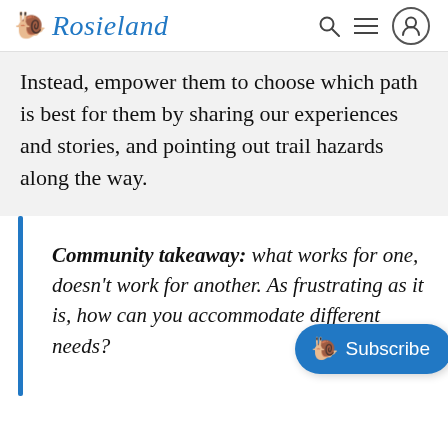🐌 Rosieland
Instead, empower them to choose which path is best for them by sharing our experiences and stories, and pointing out trail hazards along the way.
Community takeaway: what works for one, doesn't work for another. As frustrating as it is, how can you accommodate different needs?